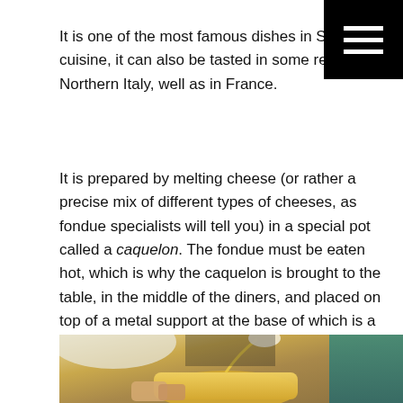It is one of the most famous dishes in Swiss cuisine, it can also be tasted in some regions of Northern Italy, well as in France.
It is prepared by melting cheese (or rather a precise mix of different types of cheeses, as fondue specialists will tell you) in a special pot called a caquelon. The fondue must be eaten hot, which is why the caquelon is brought to the table, in the middle of the diners, and placed on top of a metal support at the base of which is a candle or a small stove, which keeps the melted cheese at the desired temperature for the duration of the meal.
[Figure (photo): Photo of cheese fondue being prepared in a caquelon pot, with melted cheese being lifted by a fork, bread visible, wooden background, person wearing teal/green clothing.]